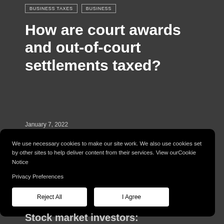BUSINESS TAXES   BUSINESS
How are court awards and out-of-court settlements taxed?
January 7, 2022
Awards and settlements are routinely provided for a variety of reasons. For example, a person could
We use necessary cookies to make our site work. We also use cookies set by other sites to help deliver content from their services. View our Cookie Notice

Privacy Preferences
Reject All   I Agree
Stock market investors: